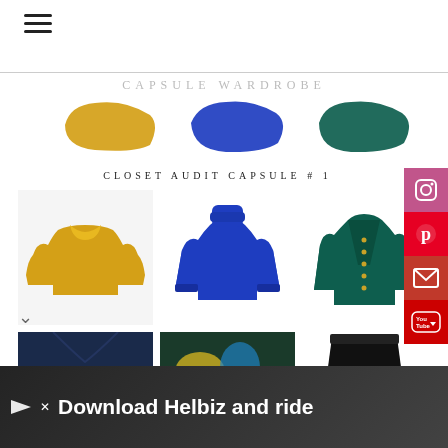[Figure (screenshot): Capsule wardrobe blog webpage showing color swatches (mustard yellow, royal blue, dark teal), clothing items (yellow sweater, blue turtleneck, green cardigan, partial navy jacket, colorful fabric, black mini skirt), social media sidebar buttons (Instagram, Pinterest, Email, YouTube), navigation hamburger menu, chevron, and an advertisement banner at the bottom reading 'Download Helbiz and ride'.]
CAPSULE WARDROBE
CLOSET AUDIT CAPSULE # 1
Download Helbiz and ride